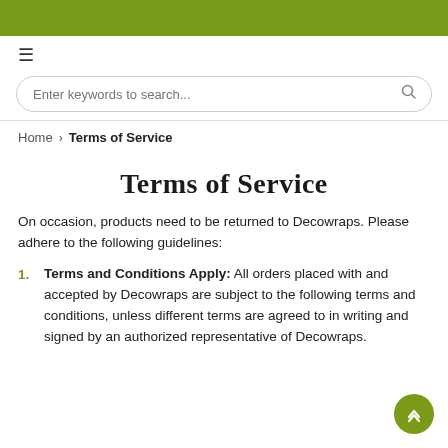≡
Enter keywords to search...
Home > Terms of Service
Terms of Service
On occasion, products need to be returned to Decowraps. Please adhere to the following guidelines:
Terms and Conditions Apply: All orders placed with and accepted by Decowraps are subject to the following terms and conditions, unless different terms are agreed to in writing and signed by an authorized representative of Decowraps.